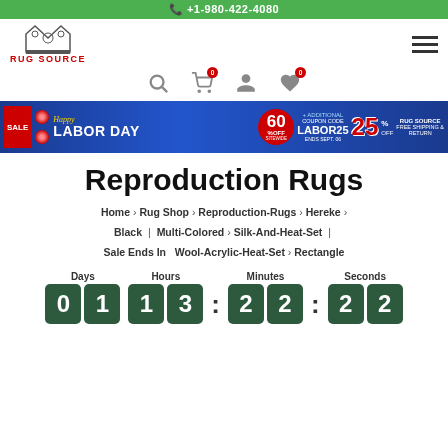+1-980-422-4080
[Figure (logo): Rug Source logo with crown and text]
[Figure (infographic): Labor Day sale banner: 60% OFF SITEWIDE + ADDITIONAL 25% OFF with coupon code LABOR25, ENDS SEPT. 06, FREE SHIPPING & RETURN]
Reproduction Rugs
Home > Rug Shop > Reproduction-Rugs > Hereke > Black | Multi-Colored > Silk-And-Heat-Set | Wool-Acrylic-Heat-Set > Rectangle
Sale Ends In
Days: 01  Hours: 13  Minutes: 22  Seconds: 22